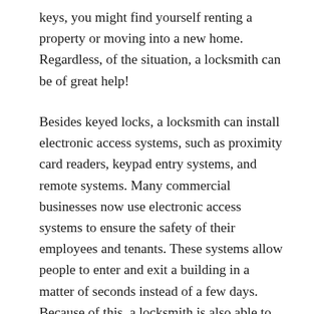keys, you might find yourself renting a property or moving into a new home. Regardless, of the situation, a locksmith can be of great help!
Besides keyed locks, a locksmith can install electronic access systems, such as proximity card readers, keypad entry systems, and remote systems. Many commercial businesses now use electronic access systems to ensure the safety of their employees and tenants. These systems allow people to enter and exit a building in a matter of seconds instead of a few days. Because of this, a locksmith is also able to install CCTV to monitor suspicious activity in real time.
While locksmith services are important in residential